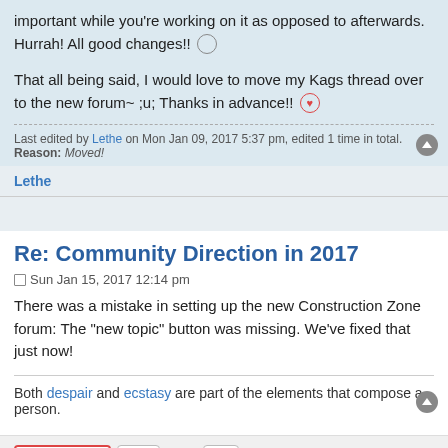important while you're working on it as opposed to afterwards. Hurrah! All good changes!!
That all being said, I would love to move my Kags thread over to the new forum~ ;u; Thanks in advance!!
Last edited by Lethe on Mon Jan 09, 2017 5:37 pm, edited 1 time in total.
Reason: Moved!
Lethe
Re: Community Direction in 2017
Sun Jan 15, 2017 12:14 pm
There was a mistake in setting up the new Construction Zone forum: The "new topic" button was missing. We've fixed that just now!
Both despair and ecstasy are part of the elements that compose a person.
20 posts  1  2
Jump to